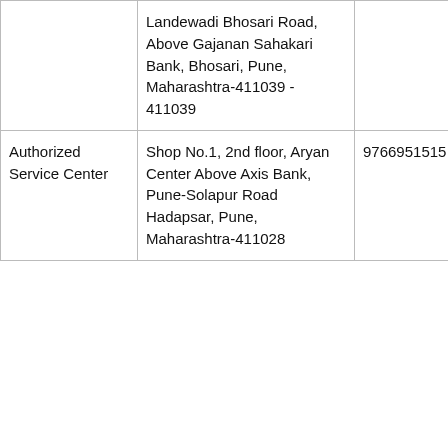|  | Landewadi Bhosari Road, Above Gajanan Sahakari Bank, Bhosari, Pune, Maharashtra-411039 - 411039 |  |
| Authorized Service Center | Shop No.1, 2nd floor, Aryan Center Above Axis Bank, Pune-Solapur Road Hadapsar, Pune, Maharashtra-411028 | 9766951515 |